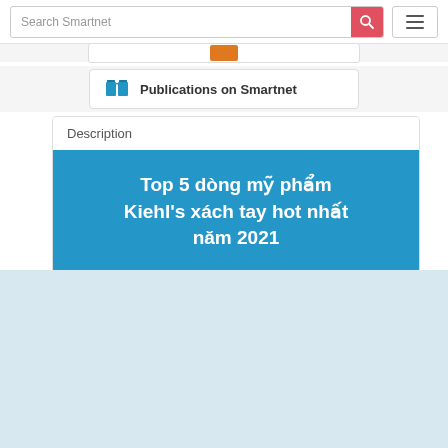[Figure (screenshot): Search bar with 'Search Smartnet' placeholder, red search button with magnifying glass icon, and hamburger menu button on the right]
[Figure (screenshot): Publications on Smartnet button with blue book icon]
Description
[Figure (illustration): Blue banner image with white bold text: Top 5 dòng mỹ phẩm Kiehl's xách tay hot nhất năm 2021]
[Figure (logo): Footer with logos: National Institute of Urban Affairs (NIUA), Smart City, Atal Mission for Rejuvenation and Urban Transformation (AMRUT), HRIDAY - Rejuvenating the Soul of Urban India, Pradhan Mantri Awas Yojana, DAY-NULM, and a circular logo. Text 'Developed by' on the left.]